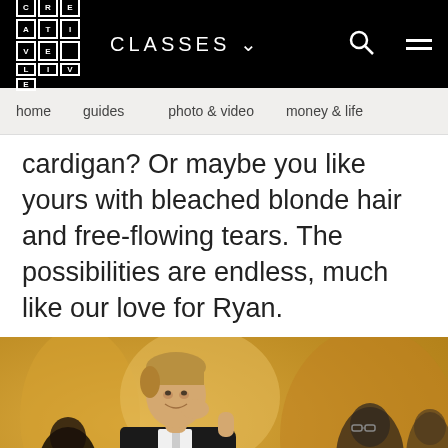CREATIVE LIVE — CLASSES — [search] [menu]
home   guides   photo & video   money & life
cardigan? Or maybe you like yours with bleached blonde hair and free-flowing tears. The possibilities are endless, much like our love for Ryan.
[Figure (photo): A man in a dark suit and white shirt sitting at a bar, resting his head on his hand and smiling slightly. He has short blonde hair. The background is warm golden/amber tones with other people out of focus.]